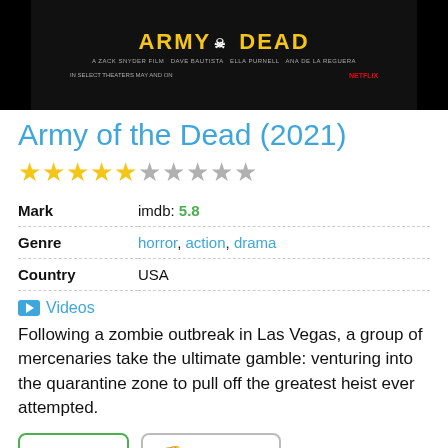[Figure (photo): Movie poster for Army of the Dead with yellow title text on black background]
Army of the Dead (2021)
[Figure (other): Star rating: 5 gold stars and 5 gray stars (10-star scale)]
|  |  |
| --- | --- |
| Mark | imdb: 5.8 |
| Genre | horror, action, drama |
| Country | USA |
Videos
Following a zombie outbreak in Las Vegas, a group of mercenaries take the ultimate gamble: venturing into the quarantine zone to pull off the greatest heist ever attempted.
Similar
Dissimilar